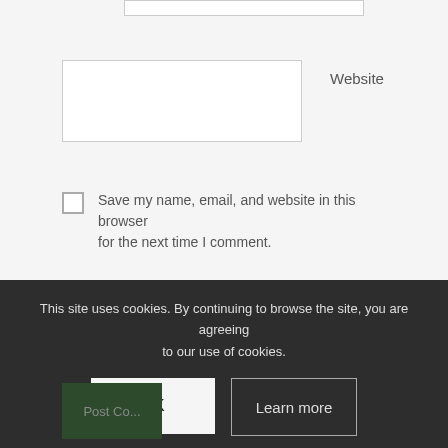[Figure (screenshot): Partial input box at top of page (cut off)]
Website
Save my name, email, and website in this browser for the next time I comment.
[Figure (screenshot): Large textarea input box for comment]
This site uses cookies. By continuing to browse the site, you are agreeing to our use of cookies.
OK
Learn more
Post Co...